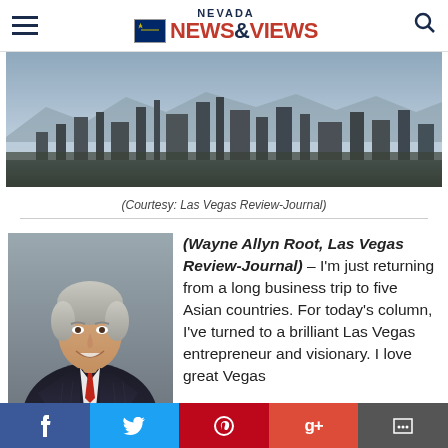Nevada News & Views
[Figure (photo): Las Vegas city skyline panorama photo, courtesy Las Vegas Review-Journal]
(Courtesy: Las Vegas Review-Journal)
[Figure (photo): Headshot portrait of Wayne Allyn Root, a man in a dark pinstripe suit with a red tie, gray hair, smiling]
(Wayne Allyn Root, Las Vegas Review-Journal) – I'm just returning from a long business trip to five Asian countries. For today's column, I've turned to a brilliant Las Vegas entrepreneur and visionary. I love great Vegas